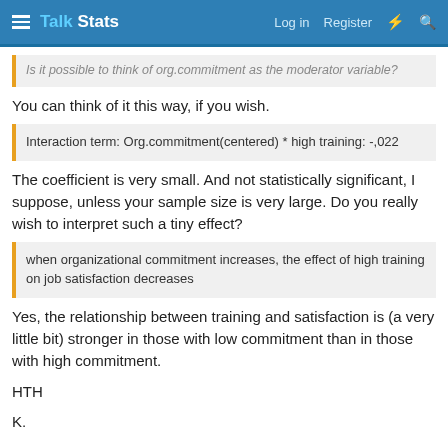Talk Stats — Log in  Register
Is it possible to think of org.commitment as the moderator variable?
You can think of it this way, if you wish.
Interaction term: Org.commitment(centered) * high training: -,022
The coefficient is very small. And not statistically significant, I suppose, unless your sample size is very large. Do you really wish to interpret such a tiny effect?
when organizational commitment increases, the effect of high training on job satisfaction decreases
Yes, the relationship between training and satisfaction is (a very little bit) stronger in those with low commitment than in those with high commitment.
HTH
K.